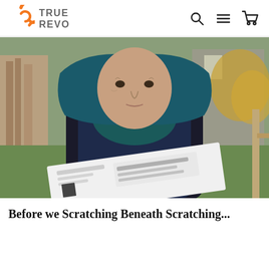[Figure (logo): True Revo logo — orange ring icon with 'TRUE REVO' text in grey]
[Figure (photo): Elderly woman wearing a dark teal headscarf and navy vest, holding a document/newspaper, standing outdoors near a wooden structure with green grass and autumn foliage]
Before we Scratching Beneath Scratching...